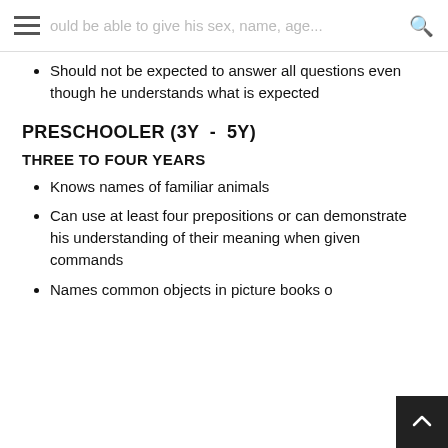should be able to give his sex, name, age...
Should not be expected to answer all questions even though he understands what is expected
PRESCHOOLER (3Y - 5Y)
THREE TO FOUR YEARS
Knows names of familiar animals
Can use at least four prepositions or can demonstrate his understanding of their meaning when given commands
Names common objects in picture books o